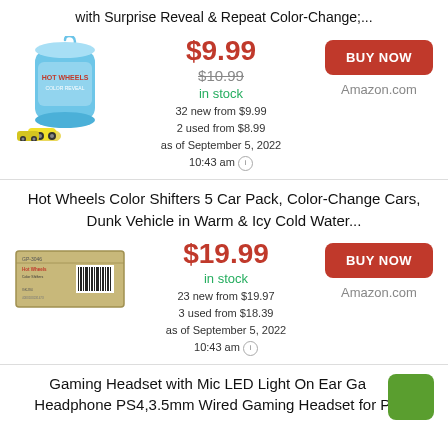with Surprise Reveal & Repeat Color-Change;...
[Figure (photo): Hot Wheels Color Reveal product image showing a cylindrical container with yellow toy cars in front]
$9.99
$10.99
in stock
32 new from $9.99
2 used from $8.99
as of September 5, 2022
10:43 am
BUY NOW
Amazon.com
Hot Wheels Color Shifters 5 Car Pack, Color-Change Cars, Dunk Vehicle in Warm & Icy Cold Water...
[Figure (photo): Hot Wheels Color Shifters 5 Car Pack box product image]
$19.99
in stock
23 new from $19.97
3 used from $18.39
as of September 5, 2022
10:43 am
BUY NOW
Amazon.com
Gaming Headset with Mic LED Light On Ear Gaming Headphone PS4,3.5mm Wired Gaming Headset for PC...